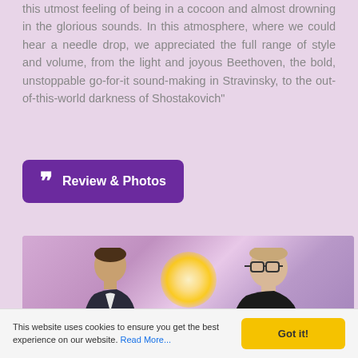this utmost feeling of being in a cocoon and almost drowning in the glorious sounds. In this atmosphere, where we could hear a needle drop, we appreciated the full range of style and volume, from the light and joyous Beethoven, the bold, unstoppable go-for-it sound-making in Stravinsky, to the out-of-this-world darkness of Shostakovich"
[Figure (other): Purple button with quotation mark icon and text 'Review & Photos']
[Figure (photo): Two people standing in a room with purple/pink lighting and a wall sconce in the background]
This website uses cookies to ensure you get the best experience on our website. Read More...